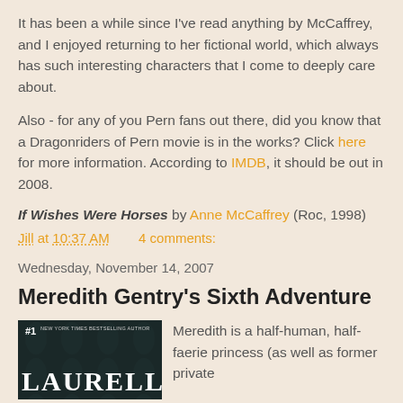It has been a while since I've read anything by McCaffrey, and I enjoyed returning to her fictional world, which always has such interesting characters that I come to deeply care about.
Also - for any of you Pern fans out there, did you know that a Dragonriders of Pern movie is in the works? Click here for more information. According to IMDB, it should be out in 2008.
If Wishes Were Horses by Anne McCaffrey (Roc, 1998)
Jill at 10:37 AM    4 comments:
Wednesday, November 14, 2007
Meredith Gentry's Sixth Adventure
[Figure (photo): Book cover showing '#1 New York Times Bestselling Author' text at top and 'LAURELL K' in large white letters at bottom, on a dark teal/green background with leaf pattern.]
Meredith is a half-human, half-faerie princess (as well as former private